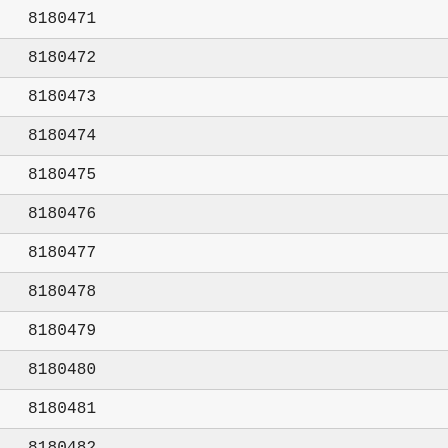| 8180471 |
| 8180472 |
| 8180473 |
| 8180474 |
| 8180475 |
| 8180476 |
| 8180477 |
| 8180478 |
| 8180479 |
| 8180480 |
| 8180481 |
| 8180482 |
| 8180483 |